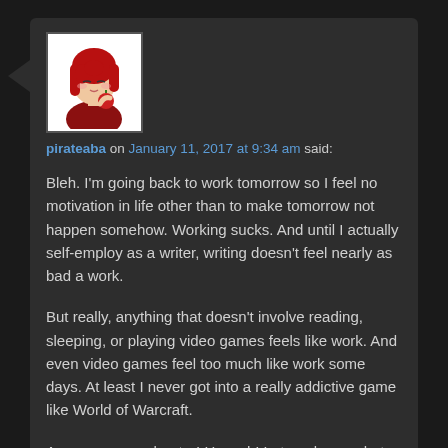[Figure (illustration): Anime-style avatar of a girl with red hair holding something, white background]
pirateaba on January 11, 2017 at 9:34 am said:
Bleh. I'm going back to work tomorrow so I feel no motivation in life other than to make tomorrow not happen somehow. Working sucks. And until I actually self-employ as a writer, writing doesn't feel nearly as bad a work.
But really, anything that doesn't involve reading, sleeping, or playing video games feels like work. And even video games feel too much like work some days. At least I never got into a really addictive game like World of Warcraft.
Anyways, new chapter! Huzzah! Let me know what you think of it and I'll get back to writing–